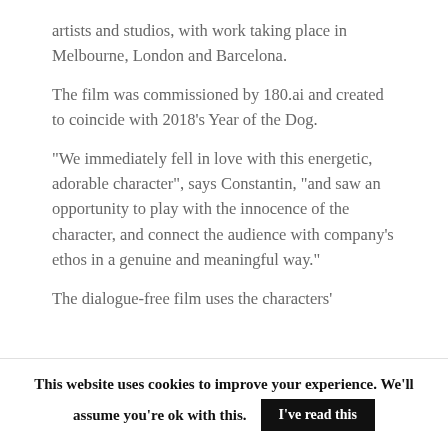artists and studios, with work taking place in Melbourne, London and Barcelona.
The film was commissioned by 180.ai and created to coincide with 2018’s Year of the Dog.
“We immediately fell in love with this energetic, adorable character”, says Constantin, “and saw an opportunity to play with the innocence of the character, and connect the audience with company’s ethos in a genuine and meaningful way.”
The dialogue-free film uses the characters’
This website uses cookies to improve your experience. We’ll assume you’re ok with this.
I’ve read this